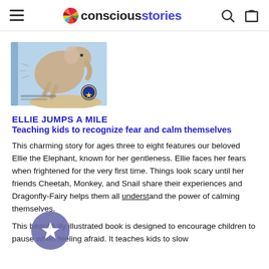conscious stories
[Figure (photo): Book cover of 'Ellie Jumps a Mile' showing an illustrated elephant jumping, light blue background, hardcover children's book]
ELLIE JUMPS A MILE
Teaching kids to recognize fear and calm themselves
This charming story for ages three to eight features our beloved Ellie the Elephant, known for her gentleness. Ellie faces her fears when frightened for the very first time. Things look scary until her friends Cheetah, Monkey, and Snail share their experiences and Dragonfly-Fairy helps them all understand the power of calming themselves.
This beautifully illustrated book is designed to encourage children to pause when feeling afraid. It teaches kids to slow